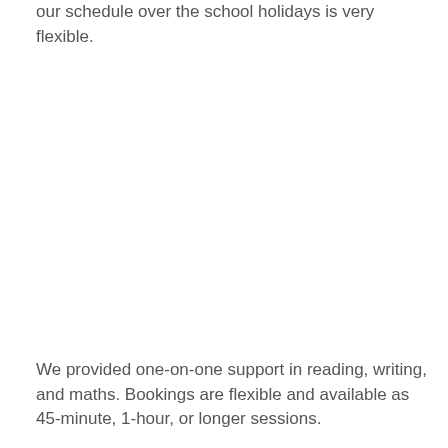our schedule over the school holidays is very flexible.
We provided one-on-one support in reading, writing, and maths. Bookings are flexible and available as 45-minute, 1-hour, or longer sessions.